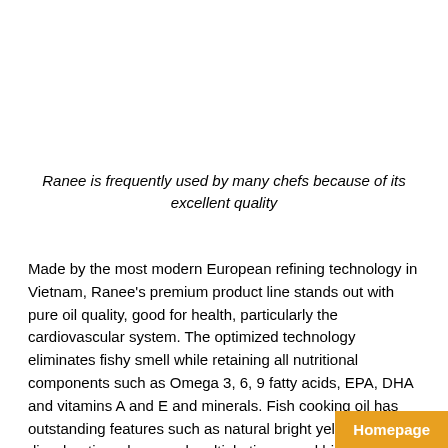Ranee is frequently used by many chefs because of its excellent quality
Made by the most modern European refining technology in Vietnam, Ranee's premium product line stands out with pure oil quality, good for health, particularly the cardiovascular system. The optimized technology eliminates fishy smell while retaining all nutritional components such as Omega 3, 6, 9 fatty acids, EPA, DHA and vitamins A and E and minerals. Fish cooking oil has outstanding features such as natural bright yellow color, no discoloration when used multiple times, and high burning temperature. Thus, it does not produce toxic su…